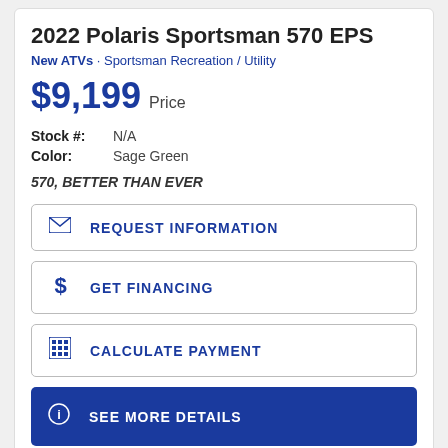2022 Polaris Sportsman 570 EPS
New ATVs · Sportsman Recreation / Utility
$9,199 Price
Stock #: N/A
Color: Sage Green
570, BETTER THAN EVER
REQUEST INFORMATION
GET FINANCING
CALCULATE PAYMENT
SEE MORE DETAILS
[Figure (photo): Photo of a red ATV/Polaris Sportsman vehicle partially visible at bottom of page]